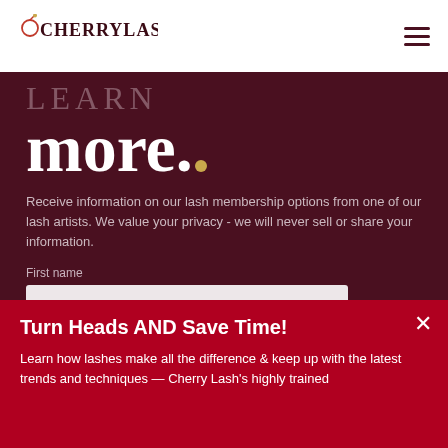CHERRYLASH
LEARN more.
Receive information on our lash membership options from one of our lash artists. We value your privacy - we will never sell or share your information.
First name
Last name
Turn Heads AND Save Time!
Learn how lashes make all the difference & keep up with the latest trends and techniques — Cherry Lash's highly trained